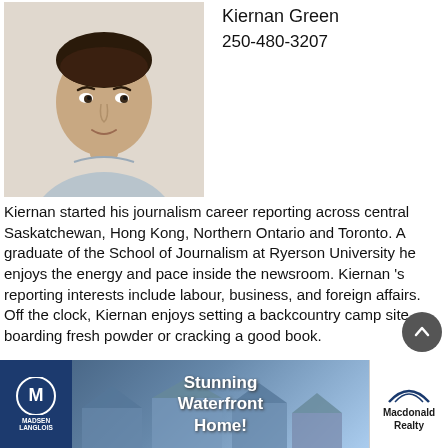[Figure (photo): Headshot of Kiernan Green, a young man wearing a light grey button-up shirt, photographed against a light background]
Kiernan Green
250-480-3207
Kiernan started his journalism career reporting across central Saskatchewan, Hong Kong, Northern Ontario and Toronto. A graduate of the School of Journalism at Ryerson University he enjoys the energy and pace inside the newsroom. Kiernan 's reporting interests include labour, business, and foreign affairs. Off the clock, Kiernan enjoys setting a backcountry camp site, boarding fresh powder or cracking a good book.
[Figure (photo): Advertisement for Madsen Langlois and Macdonald Realty featuring a Stunning Waterfront Home with a house image in the background]